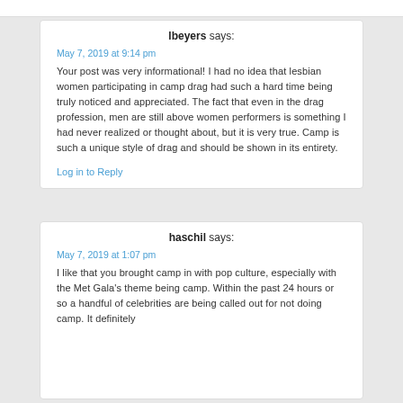lbeyers says:
May 7, 2019 at 9:14 pm
Your post was very informational! I had no idea that lesbian women participating in camp drag had such a hard time being truly noticed and appreciated. The fact that even in the drag profession, men are still above women performers is something I had never realized or thought about, but it is very true. Camp is such a unique style of drag and should be shown in its entirety.
Log in to Reply
haschil says:
May 7, 2019 at 1:07 pm
I like that you brought camp in with pop culture, especially with the Met Gala's theme being camp. Within the past 24 hours or so a handful of celebrities are being called out for not doing camp. It definitely